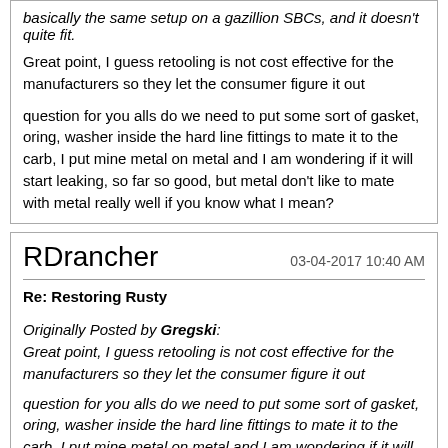basically the same setup on a gazillion SBCs, and it doesn't quite fit.
Great point, I guess retooling is not cost effective for the manufacturers so they let the consumer figure it out
question for you alls do we need to put some sort of gasket, oring, washer inside the hard line fittings to mate it to the carb, I put mine metal on metal and I am wondering if it will start leaking, so far so good, but metal don't like to mate with metal really well if you know what I mean?
RDrancher — 03-04-2017 10:40 AM
Re: Restoring Rusty
Originally Posted by Gregski:
Great point, I guess retooling is not cost effective for the manufacturers so they let the consumer figure it out

question for you alls do we need to put some sort of gasket, oring, washer inside the hard line fittings to mate it to the carb, I put mine metal on metal and I am wondering if it will start leaking, so far so good, but metal don't like to mate with metal really well if you know what I mean?
No gaskets or teflon tape on mine and no leaks yet. The carb install instructions (yes, I actually read them) specifically state not to use sealant tape. The flare is supposed to do all of the sealing.